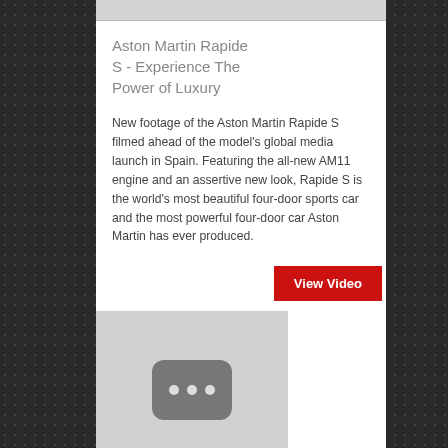[Figure (other): Top image strip placeholder (gray bar)]
Aston Martin Rapide S - Experience The Power of Luxury
New footage of the Aston Martin Rapide S filmed ahead of the model's global media launch in Spain. Featuring the all-new AM11 engine and an assertive new look, Rapide S is the world's most beautiful four-door sports car and the most powerful four-door car Aston Martin has ever produced.
[Figure (other): View Video button (red button with white text)]
[Figure (other): Video thumbnail placeholder with rounded rectangle icon and three dots]